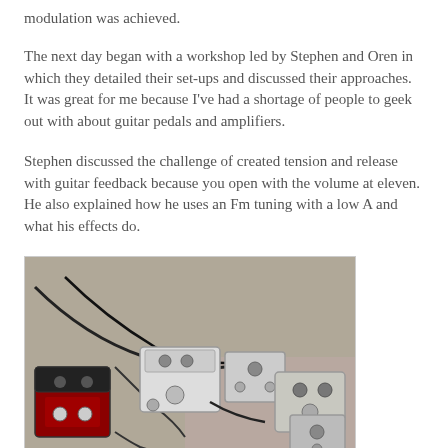modulation was achieved.
The next day began with a workshop led by Stephen and Oren in which they detailed their set-ups and discussed their approaches. It was great for me because I've had a shortage of people to geek out with about guitar pedals and amplifiers.
Stephen discussed the challenge of created tension and release with guitar feedback because you open with the volume at eleven. He also explained how he uses an Fm tuning with a low A and what his effects do.
[Figure (photo): Photo of several guitar effect pedals arranged on a concrete floor, connected by cables, including what appears to be a red/black pedal on the left and multiple grey/white pedals.]